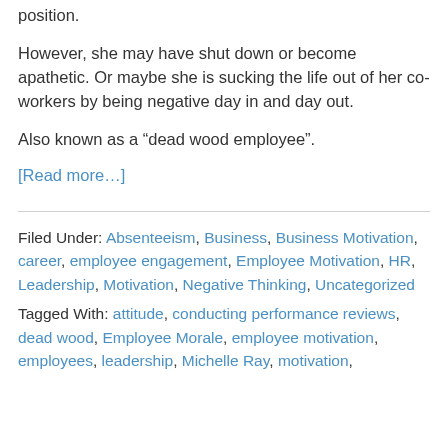position.
However, she may have shut down or become apathetic. Or maybe she is sucking the life out of her co-workers by being negative day in and day out.
Also known as a “dead wood employee”.
[Read more...]
Filed Under: Absenteeism, Business, Business Motivation, career, employee engagement, Employee Motivation, HR, Leadership, Motivation, Negative Thinking, Uncategorized
Tagged With: attitude, conducting performance reviews, dead wood, Employee Morale, employee motivation, employees, leadership, Michelle Ray, motivation,